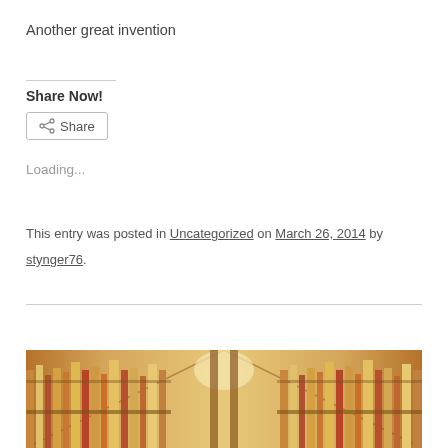Another great invention
Share Now!
Share (button)
Loading...
This entry was posted in Uncategorized on March 26, 2014 by stynger76.
[Figure (photo): Photo of archive shelves filled with folders and files, viewed from below looking up between two rows]